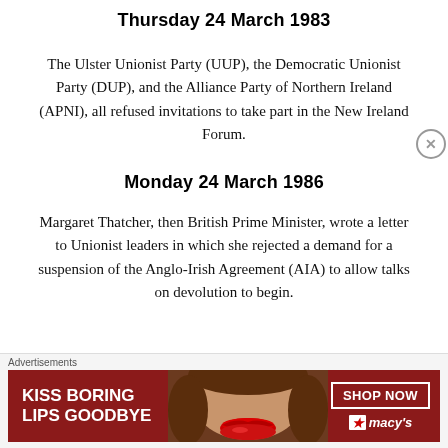Thursday 24 March 1983
The Ulster Unionist Party (UUP), the Democratic Unionist Party (DUP), and the Alliance Party of Northern Ireland (APNI), all refused invitations to take part in the New Ireland Forum.
Monday 24 March 1986
Margaret Thatcher, then British Prime Minister, wrote a letter to Unionist leaders in which she rejected a demand for a suspension of the Anglo-Irish Agreement (AIA) to allow talks on devolution to begin.
[Figure (photo): Advertisement banner for Macy's cosmetics with text 'KISS BORING LIPS GOODBYE' and 'SHOP NOW' button with Macy's star logo, showing a woman's face with red lips.]